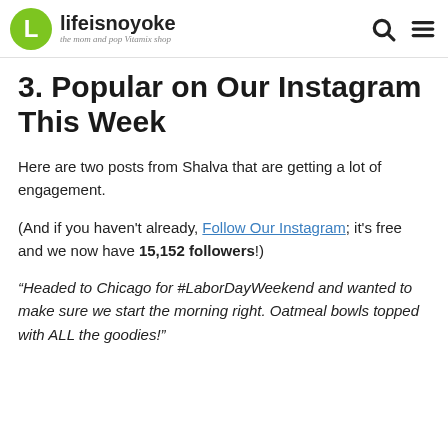lifeisnoyoke — the mom and pop Vitamix shop
3. Popular on Our Instagram This Week
Here are two posts from Shalva that are getting a lot of engagement.
(And if you haven't already, Follow Our Instagram; it's free and we now have 15,152 followers!)
“Headed to Chicago for #LaborDayWeekend and wanted to make sure we start the morning right. Oatmeal bowls topped with ALL the goodies!”